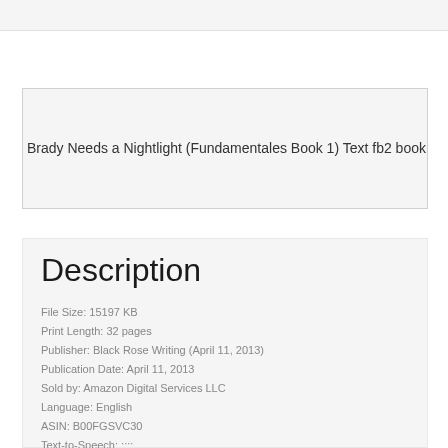[Figure (other): Broken image placeholder showing alt text: Brady Needs a Nightlight (Fundamentales Book 1) Text fb2 book]
Description
File Size: 15197 KB
Print Length: 32 pages
Publisher: Black Rose Writing (April 11, 2013)
Publication Date: April 11, 2013
Sold by: Amazon Digital Services LLC
Language: English
ASIN: B00FGSVC30
Text-to-Speech: ::::
X-Ray:
Word Wise: Not Enabled
Lending: Not Enabled